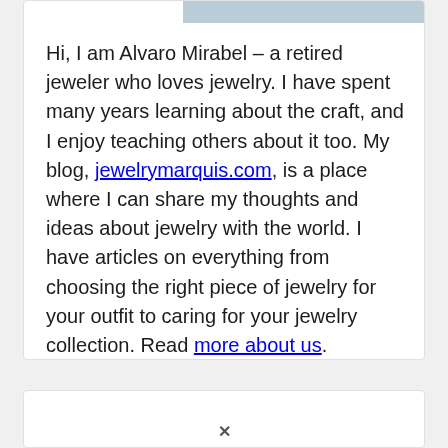[Figure (photo): Partial image of a person, cropped at top]
Hi, I am Alvaro Mirabel – a retired jeweler who loves jewelry. I have spent many years learning about the craft, and I enjoy teaching others about it too. My blog, jewelrymarquis.com, is a place where I can share my thoughts and ideas about jewelry with the world. I have articles on everything from choosing the right piece of jewelry for your outfit to caring for your jewelry collection. Read more about us.